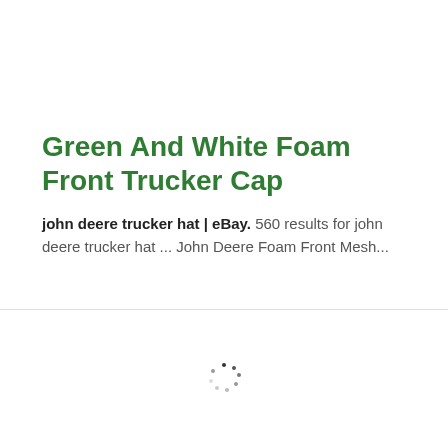Green And White Foam Front Trucker Cap
john deere trucker hat | eBay. 560 results for john deere trucker hat ... John Deere Foam Front Mesh...
[Figure (other): Loading spinner animation indicator]